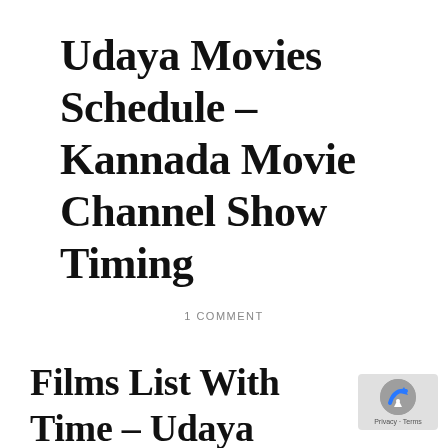Udaya Movies Schedule – Kannada Movie Channel Show Timing
1 COMMENT
Films List With Time – Udaya Movies Schedule